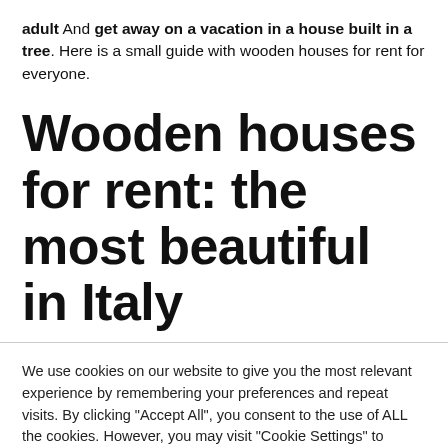adult And get away on a vacation in a house built in a tree. Here is a small guide with wooden houses for rent for everyone.
Wooden houses for rent: the most beautiful in Italy
We use cookies on our website to give you the most relevant experience by remembering your preferences and repeat visits. By clicking "Accept All", you consent to the use of ALL the cookies. However, you may visit "Cookie Settings" to provide a controlled consent.